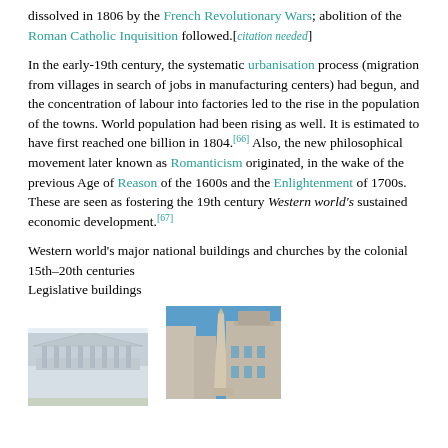dissolved in 1806 by the French Revolutionary Wars; abolition of the Roman Catholic Inquisition followed.[citation needed]
In the early-19th century, the systematic urbanisation process (migration from villages in search of jobs in manufacturing centers) had begun, and the concentration of labour into factories led to the rise in the population of the towns. World population had been rising as well. It is estimated to have first reached one billion in 1804.[66] Also, the new philosophical movement later known as Romanticism originated, in the wake of the previous Age of Reason of the 1600s and the Enlightenment of 1700s. These are seen as fostering the 19th century Western world's sustained economic development.[67]
Western world's major national buildings and churches by the colonial 15th–20th centuries
Legislative buildings
[Figure (photo): Photo of a grand neoclassical government building with columns, white facade, daytime.]
[Figure (photo): Photo of an obelisk in a plaza with a large baroque church building in the background, blue sky, Rome.]